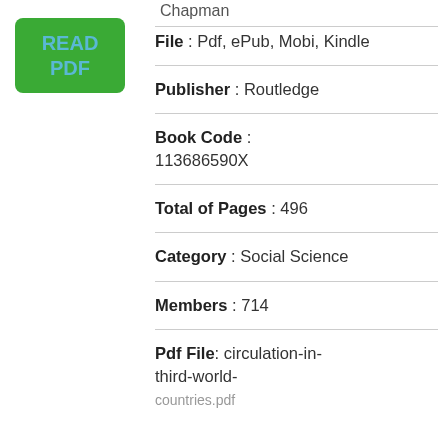Chapman
[Figure (other): Green READ PDF button]
File : Pdf, ePub, Mobi, Kindle
Publisher : Routledge
Book Code : 113686590X
Total of Pages : 496
Category : Social Science
Members : 714
Pdf File: circulation-in-third-world-countries.pdf